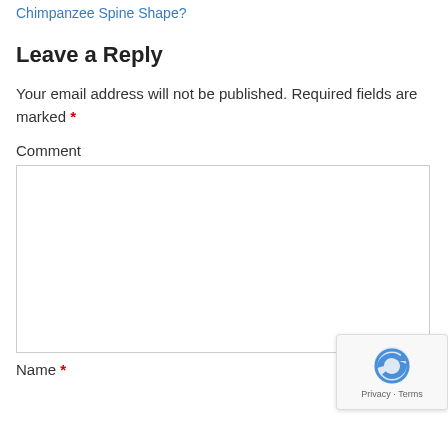Lower Back Pain linked to Chimpanzee Spine Shape?
Leave a Reply
Your email address will not be published. Required fields are marked *
Comment
Name *